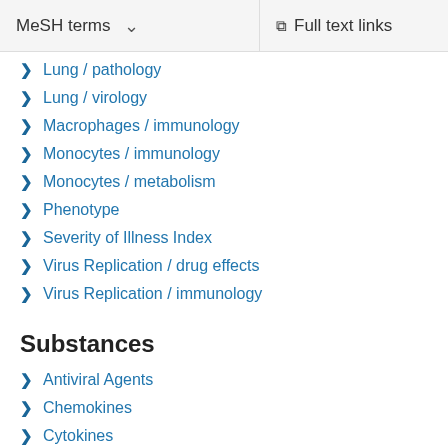MeSH terms  ∨    Full text links
Lung / pathology
Lung / virology
Macrophages / immunology
Monocytes / immunology
Monocytes / metabolism
Phenotype
Severity of Illness Index
Virus Replication / drug effects
Virus Replication / immunology
Substances
Antiviral Agents
Chemokines
Cytokines
Interferons